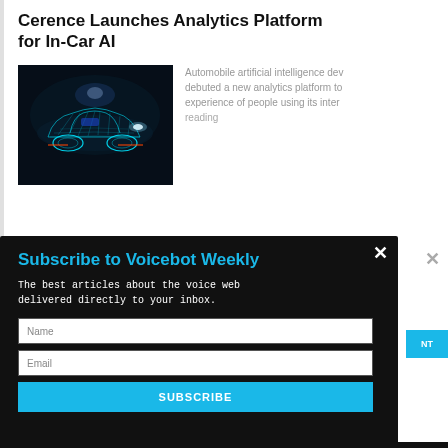Cerence Launches Analytics Platform for In-Car AI
[Figure (photo): Glowing blue wireframe/digital art of a futuristic car on dark background]
Automobile artificial intelligence developer Cerence debuted a new analytics platform to improve the experience of people using its inter... reading
Subscribe to Voicebot Weekly
The best articles about the voice web delivered directly to your inbox.
Name
Email
SUBSCRIBE